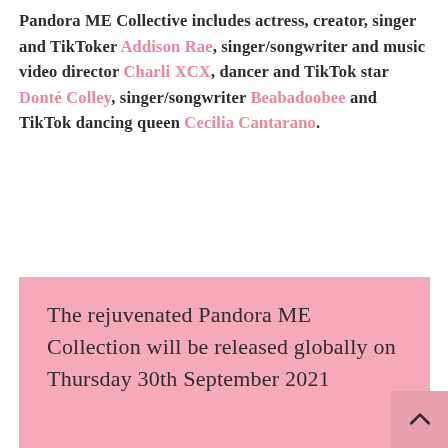Pandora ME Collective includes actress, creator, singer and TikToker Addison Rae, singer/songwriter and music video director Charli XCX, dancer and TikTok star Donté Colley, singer/songwriter Beabadoobee and TikTok dancing queen Cecilia Cantarano.
The rejuvenated Pandora ME Collection will be released globally on Thursday 30th September 2021